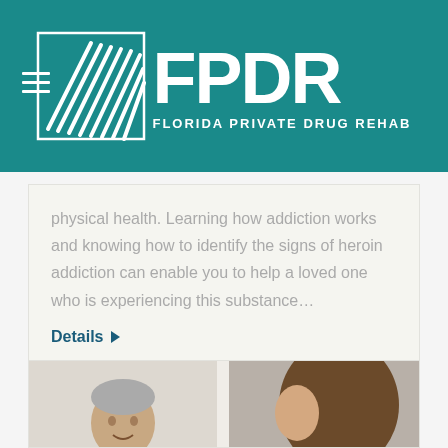[Figure (logo): FPDR Florida Private Drug Rehab logo with teal background, hamburger menu icon on left, stylized leaf/wave graphic mark, and bold white FPDR text with subtitle FLORIDA PRIVATE DRUG REHAB]
physical health. Learning how addiction works and knowing how to identify the signs of heroin addiction can enable you to help a loved one who is experiencing this substance…
Details ▶
[Figure (photo): Photo showing a middle-aged man with grey hair on left side and a woman with brown hair on right side, cropped at bottom of page]